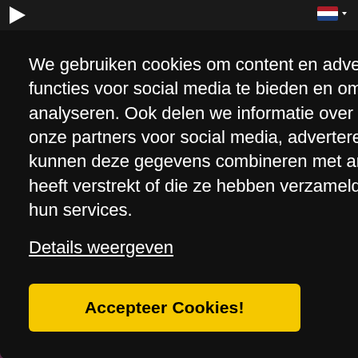Navigation bar with play icon and Dutch flag
We gebruiken cookies om content en advertenties te personaliseren, om functies voor social media te bieden en om ons websiteverkeer te analyseren. Ook delen we informatie over uw gebruik van onze site met onze partners voor social media, adverteren en analyse. Deze partners kunnen deze gegevens combineren met andere informatie die u aan ze heeft verstrekt of die ze hebben verzameld op basis van uw gebruik van hun services.
Details weergeven
Accepteer Cookies!
Nothing Holds
Martin Solveig
MY CUE (KÖLSCH REMIX)